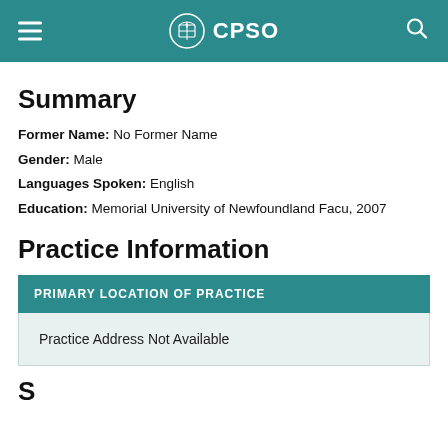CPSO
Summary
Former Name: No Former Name
Gender: Male
Languages Spoken: English
Education: Memorial University of Newfoundland Facu, 2007
Practice Information
| PRIMARY LOCATION OF PRACTICE |
| --- |
| Practice Address Not Available |
S